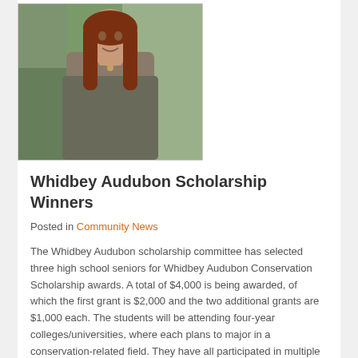[Figure (photo): Portrait photo of a young woman with long auburn hair, smiling, standing outdoors near a tree, wearing a grey jacket.]
Whidbey Audubon Scholarship Winners
Posted in Community News
The Whidbey Audubon scholarship committee has selected three high school seniors for Whidbey Audubon Conservation Scholarship awards. A total of $4,000 is being awarded, of which the first grant is $2,000 and the two additional grants are $1,000 each. The students will be attending four-year colleges/universities, where each plans to major in a conservation-related field. They have all participated in multiple environmental activities on Whidbey Island during their high school years.
The recipients, and their proposed majors, are: